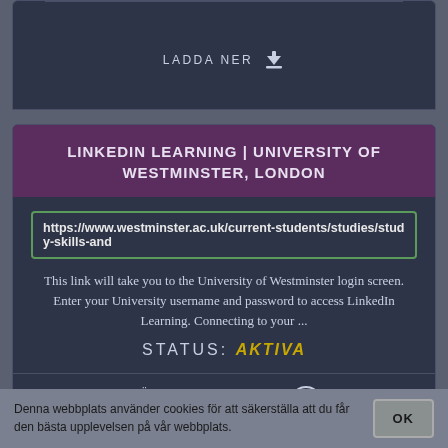[Figure (screenshot): Top card with dark background showing LADDA NER download button with down arrow icon]
LINKEDIN LEARNING | UNIVERSITY OF WESTMINSTER, LONDON
https://www.westminster.ac.uk/current-students/studies/study-skills-and
This link will take you to the University of Westminster login screen. Enter your University username and password to access LinkedIn Learning. Connecting to your ...
STATUS: AKTIVA
FÖRHANDSVISNING
LADDA NER
Denna webbplats använder cookies för att säkerställa att du får den bästa upplevelsen på vår webbplats.